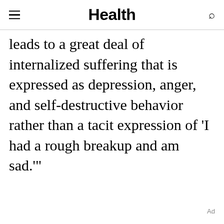Health
leads to a great deal of internalized suffering that is expressed as depression, anger, and self-destructive behavior rather than a tacit expression of 'I had a rough breakup and am sad.'"
Ad